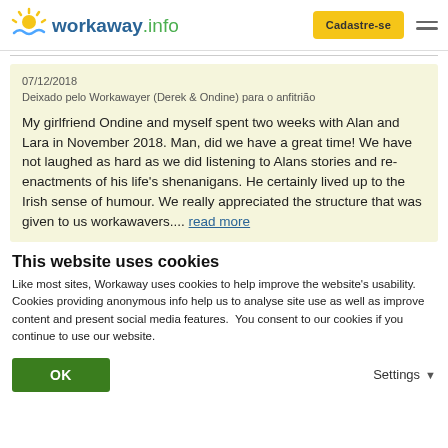workaway.info — Cadastre-se
07/12/2018
Deixado pelo Workawayer (Derek & Ondine) para o anfitrião
My girlfriend Ondine and myself spent two weeks with Alan and Lara in November 2018. Man, did we have a great time! We have not laughed as hard as we did listening to Alans stories and re-enactments of his life's shenanigans. He certainly lived up to the Irish sense of humour. We really appreciated the structure that was given to us workawavers.... read more
This website uses cookies
Like most sites, Workaway uses cookies to help improve the website's usability. Cookies providing anonymous info help us to analyse site use as well as improve content and present social media features.  You consent to our cookies if you continue to use our website.
OK
Settings